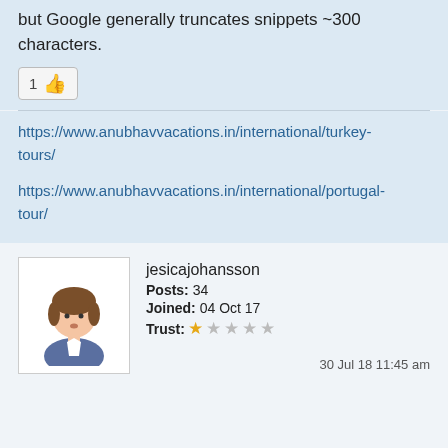but Google generally truncates snippets ~300 characters.
[Figure (other): Like button with thumbs up icon showing count of 1]
https://www.anubhavvacations.in/international/turkey-tours/
https://www.anubhavvacations.in/international/portugal-tour/
[Figure (illustration): Forum user avatar showing a cartoon person with brown hair and blue outfit]
jesicajohansson
Posts: 34
Joined: 04 Oct 17
Trust: 1 star out of 5
30 Jul 18 11:45 am